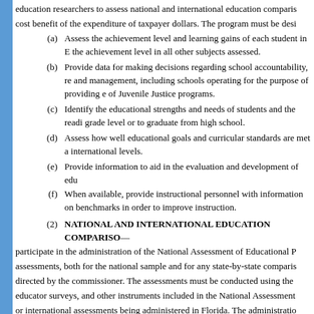education researchers to assess national and international education comparisons, and the cost benefit of the expenditure of taxpayer dollars. The program must be designed to:
(a) Assess the achievement level and learning gains of each student in English and the achievement level in all other subjects assessed.
(b) Provide data for making decisions regarding school accountability, resource allocation, and management, including schools operating for the purpose of providing education as part of Juvenile Justice programs.
(c) Identify the educational strengths and needs of students and the readiness to move to the next grade level or to graduate from high school.
(d) Assess how well educational goals and curricular standards are met at the local, state, and international levels.
(e) Provide information to aid in the evaluation and development of educational programs.
(f) When available, provide instructional personnel with information on student performance as it relates to benchmarks in order to improve instruction.
(2) NATIONAL AND INTERNATIONAL EDUCATION COMPARISONS.—The department shall participate in the administration of the National Assessment of Educational Progress assessments, both for the national sample and for any state-by-state comparisons, as directed by the commissioner. The assessments must be conducted using the same instruments, educator surveys, and other instruments included in the National Assessment or international assessments being administered in Florida. The administration of these assessments is in addition to and separate from the administration of the statewide, standardized assessments.
(3) STATEWIDE, STANDARDIZED ASSESSMENT PROGRAM.—The